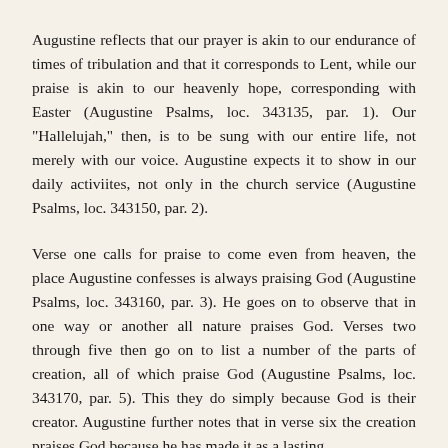Augustine reflects that our prayer is akin to our endurance of times of tribulation and that it corresponds to Lent, while our praise is akin to our heavenly hope, corresponding with Easter (Augustine Psalms, loc. 343135, par. 1). Our "Hallelujah," then, is to be sung with our entire life, not merely with our voice. Augustine expects it to show in our daily activiites, not only in the church service (Augustine Psalms, loc. 343150, par. 2).
Verse one calls for praise to come even from heaven, the place Augustine confesses is always praising God (Augustine Psalms, loc. 343160, par. 3). He goes on to observe that in one way or another all nature praises God. Verses two through five then go on to list a number of the parts of creation, all of which praise God (Augustine Psalms, loc. 343170, par. 5). This they do simply because God is their creator. Augustine further notes that in verse six the creation praises God because he has made it as a lasting